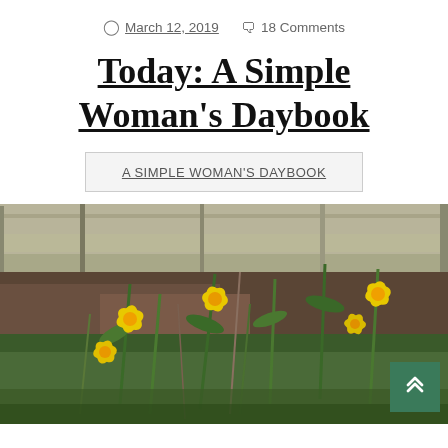March 12, 2019   18 Comments
Today: A Simple Woman's Daybook
A SIMPLE WOMAN'S DAYBOOK
[Figure (photo): Outdoor garden photo showing yellow daffodils blooming in front of a wooden fence or deck structure, with brown soil, dead leaves, and green foliage in the background.]